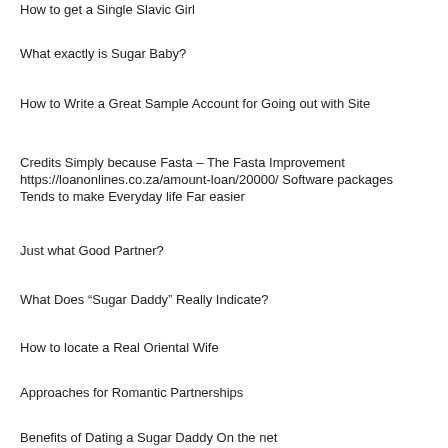How to get a Single Slavic Girl
What exactly is Sugar Baby?
How to Write a Great Sample Account for Going out with Site
Credits Simply because Fasta – The Fasta Improvement https://loanonlines.co.za/amount-loan/20000/ Software packages Tends to make Everyday life Far easier
Just what Good Partner?
What Does “Sugar Daddy” Really Indicate?
How to locate a Real Oriental Wife
Approaches for Romantic Partnerships
Benefits of Dating a Sugar Daddy On the net
□□□□□□□□□□□□□□□□□□□□□□□□□□□□□□□□□□□□□□□□□□□□□□□□? □□□□□□□□□□□□□□□□?